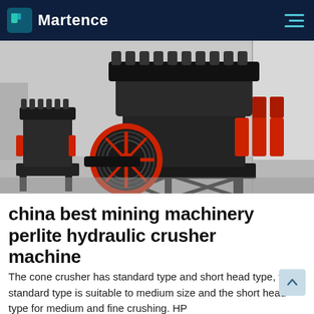Martence
[Figure (photo): Industrial cone crushers (hydraulic perlite crusher machines) in a factory setting. Large black machines with red hydraulic cylinders and a prominent red and black flywheel/pulley in the foreground.]
china best mining machinery perlite hydraulic crusher machine
The cone crusher has standard type and short head type, the standard type is suitable to medium size and the short head type for medium and fine crushing. HP